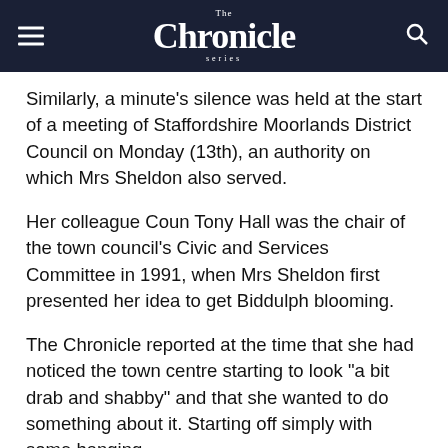The Chronicle Series
Similarly, a minute's silence was held at the start of a meeting of Staffordshire Moorlands District Council on Monday (13th), an authority on which Mrs Sheldon also served.
Her colleague Coun Tony Hall was the chair of the town council's Civic and Services Committee in 1991, when Mrs Sheldon first presented her idea to get Biddulph blooming.
The Chronicle reported at the time that she had noticed the town centre starting to look "a bit drab and shabby" and that she wanted to do something about it. Starting off simply with some hanging